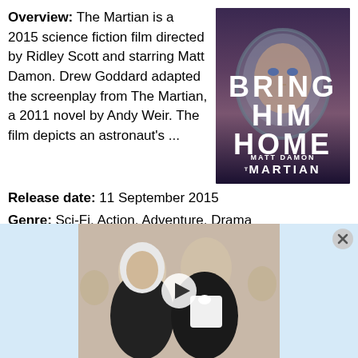Overview: The Martian is a 2015 science fiction film directed by Ridley Scott and starring Matt Damon. Drew Goddard adapted the screenplay from The Martian, a 2011 novel by Andy Weir. The film depicts an astronaut's ...
[Figure (photo): Movie poster for The Martian (2015) showing a close-up of an astronaut in a helmet with text BRING HIM HOME and THE MARTIAN]
Release date: 11 September 2015
Genre: Sci-Fi, Action, Adventure, Drama
Director: Ridley Scott
Cast: Matt Damon, Jessica Chastain, Kristen Wiig, Jeff Daniels, Michael Peña, Sean Bean
Producer: Howard Ellis, Drew Goddard
[Figure (photo): Video thumbnail showing two people in formal wear, with a play button overlay, on a light blue advertisement background with a close button]